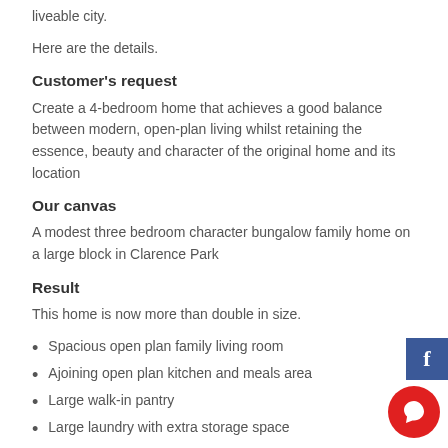liveable city.
Here are the details.
Customer's request
Create a 4-bedroom home that achieves a good balance between modern, open-plan living whilst retaining the essence, beauty and character of the original home and its location
Our canvas
A modest three bedroom character bungalow family home on a large block in Clarence Park
Result
This home is now more than double in size.
Spacious open plan family living room
Ajoining open plan kitchen and meals area
Large walk-in pantry
Large laundry with extra storage space
Large family bathroom with seporate WC and powder